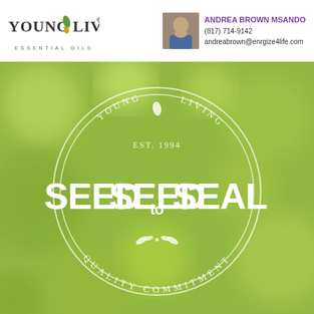[Figure (logo): Young Living Essential Oils logo with leaf and drop icon]
[Figure (photo): Headshot photo of Andrea Brown Msando]
ANDREA BROWN MSANDO
(817) 714-9142
andreabrown@enrgize4life.com
[Figure (illustration): Young Living Seed to Seal quality commitment circular badge/seal over blurred green bokeh background]